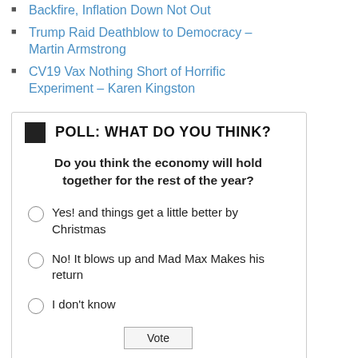Backfire, Inflation Down Not Out
Trump Raid Deathblow to Democracy – Martin Armstrong
CV19 Vax Nothing Short of Horrific Experiment – Karen Kingston
POLL: WHAT DO YOU THINK?
Do you think the economy will hold together for the rest of the year?
Yes! and things get a little better by Christmas
No! It blows up and Mad Max Makes his return
I don't know
Vote
View Results